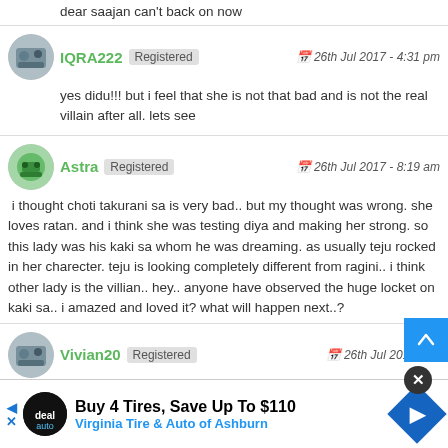dear saajan can't back on now
IQRA222 Registered — 26th Jul 2017 - 4:31 pm
yes didu!!! but i feel that she is not that bad and is not the real villain after all. lets see
Astra Registered — 26th Jul 2017 - 8:19 am
 i thought choti takurani sa is very bad.. but my thought was wrong. she loves ratan. and i think she was testing diya and making her strong. so this lady was his kaki sa whom he was dreaming. as usually teju rocked in her charecter. teju is looking completely different from ragini.. i think other lady is the villian.. hey.. anyone have observed the huge locket on kaki sa.. i amazed and loved it? what will happen next..?
Vivian20 Registered — 26th Jul 2017 - 10... ...not
[Figure (other): Buy 4 Tires, Save Up To $110 - Virginia Tire & Auto of Ashburn advertisement banner]